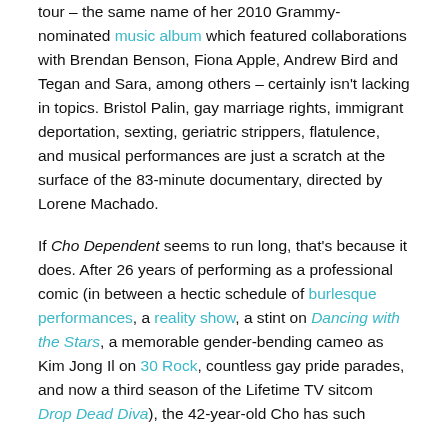tour – the same name of her 2010 Grammy-nominated music album which featured collaborations with Brendan Benson, Fiona Apple, Andrew Bird and Tegan and Sara, among others – certainly isn't lacking in topics. Bristol Palin, gay marriage rights, immigrant deportation, sexting, geriatric strippers, flatulence, and musical performances are just a scratch at the surface of the 83-minute documentary, directed by Lorene Machado.
If Cho Dependent seems to run long, that's because it does. After 26 years of performing as a professional comic (in between a hectic schedule of burlesque performances, a reality show, a stint on Dancing with the Stars, a memorable gender-bending cameo as Kim Jong Il on 30 Rock, countless gay pride parades, and now a third season of the Lifetime TV sitcom Drop Dead Diva), the 42-year-old Cho has such